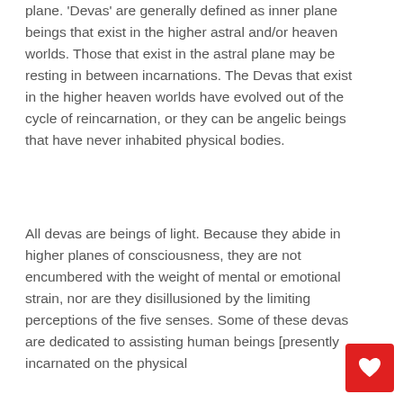plane. 'Devas' are generally defined as inner plane beings that exist in the higher astral and/or heaven worlds. Those that exist in the astral plane may be resting in between incarnations. The Devas that exist in the higher heaven worlds have evolved out of the cycle of reincarnation, or they can be angelic beings that have never inhabited physical bodies.
All devas are beings of light. Because they abide in higher planes of consciousness, they are not encumbered with the weight of mental or emotional strain, nor are they disillusioned by the limiting perceptions of the five senses. Some of these devas are dedicated to assisting human beings [presently incarnated on the physical
[Figure (other): Red square button with a white heart icon in the bottom-right corner of the page.]